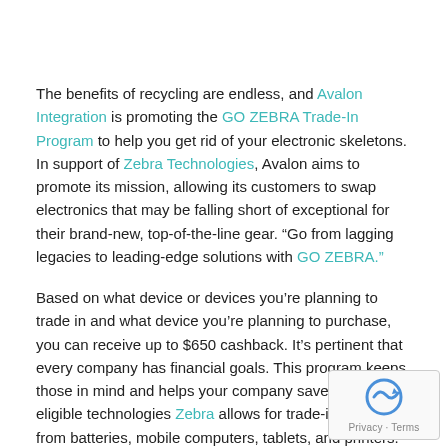The benefits of recycling are endless, and Avalon Integration is promoting the GO ZEBRA Trade-In Program to help you get rid of your electronic skeletons. In support of Zebra Technologies, Avalon aims to promote its mission, allowing its customers to swap electronics that may be falling short of exceptional for their brand-new, top-of-the-line gear. “Go from lagging legacies to leading-edge solutions with GO ZEBRA.”
Based on what device or devices you’re planning to trade in and what device you’re planning to purchase, you can receive up to $650 cashback. It’s pertinent that every company has financial goals. This program keeps those in mind and helps your company save. The eligible technologies Zebra allows for trade-in ranges from batteries, mobile computers, tablets, and printers.
Avalon wants businesses to understand that this program ai… “swap setbacks for savings on smarter, harder-working technology”.